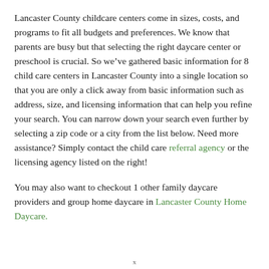Lancaster County childcare centers come in sizes, costs, and programs to fit all budgets and preferences. We know that parents are busy but that selecting the right daycare center or preschool is crucial. So we've gathered basic information for 8 child care centers in Lancaster County into a single location so that you are only a click away from basic information such as address, size, and licensing information that can help you refine your search. You can narrow down your search even further by selecting a zip code or a city from the list below. Need more assistance? Simply contact the child care referral agency or the licensing agency listed on the right!
You may also want to checkout 1 other family daycare providers and group home daycare in Lancaster County Home Daycare.